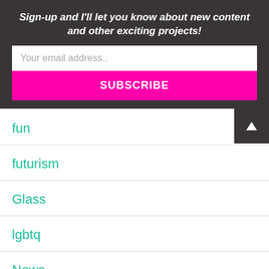Sign-up and I'll let you know about new content and other exciting projects!
Your email address..
SUBSCRIBE
fun
futurism
Glass
lgbtq
News
NFTs